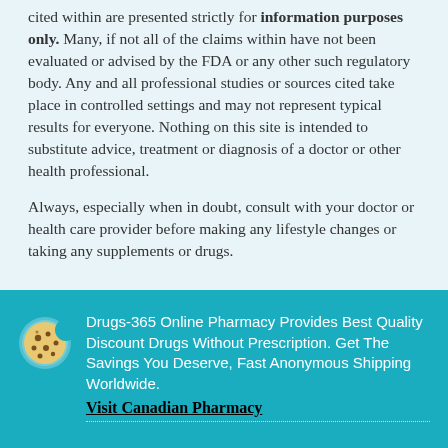cited within are presented strictly for information purposes only. Many, if not all of the claims within have not been evaluated or advised by the FDA or any other such regulatory body. Any and all professional studies or sources cited take place in controlled settings and may not represent typical results for everyone. Nothing on this site is intended to substitute advice, treatment or diagnosis of a doctor or other health professional.
Always, especially when in doubt, consult with your doctor or health care provider before making any lifestyle changes or taking any supplements or drugs.
Drugs-365 Online Pharmacy Provides Best Quality Discount Drugs Without Prescription. Get The Savings You Deserve, Fast Anonymous Shipping Worldwide. Visit Canadian Pharmacy